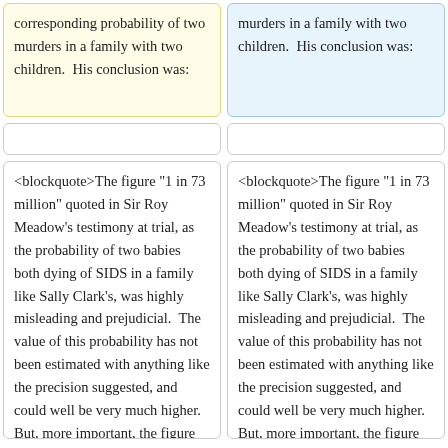corresponding probability of two murders in a family with two children.  His conclusion was:
murders in a family with two children.  His conclusion was:
<blockquote>The figure "1 in 73 million" quoted in Sir Roy Meadow's testimony at trial, as the probability of two babies both dying of SIDS in a family like Sally Clark's, was highly misleading and prejudicial.  The value of this probability has not been estimated with anything like the precision suggested, and could well be very much higher.  But, more important, the figure was presented with no explanation of the logically correct use of such information -
<blockquote>The figure "1 in 73 million" quoted in Sir Roy Meadow's testimony at trial, as the probability of two babies both dying of SIDS in a family like Sally Clark's, was highly misleading and prejudicial.  The value of this probability has not been estimated with anything like the precision suggested, and could well be very much higher.  But, more important, the figure was presented with no explanation of the logically correct use of such information -